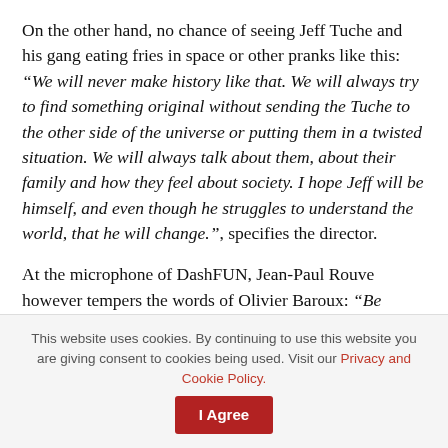On the other hand, no chance of seeing Jeff Tuche and his gang eating fries in space or other pranks like this: “We will never make history like that. We will always try to find something original without sending the Tuche to the other side of the universe or putting them in a twisted situation. We will always talk about them, about their family and how they feel about society. I hope Jeff will be himself, and even though he struggles to understand the world, that he will change.”, specifies the director.
At the microphone of DashFUN, Jean-Paul Rouve however tempers the words of Olivier Baroux: “Be careful, it is not because we have an idea that we will have a film. An idea, you have to work on it. Sometimes, you can realize by developing,
This website uses cookies. By continuing to use this website you are giving consent to cookies being used. Visit our Privacy and Cookie Policy.  I Agree